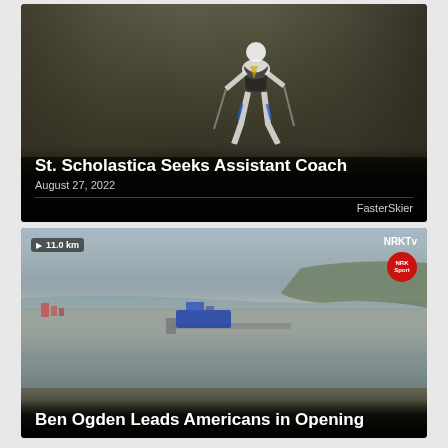[Figure (photo): Cross-country skier in white and blue uniform racing on a course surrounded by bare winter trees]
St. Scholastica Seeks Assistant Coach
August 27, 2022
FasterSkier
[Figure (screenshot): Aerial drone view of a coastal Norwegian town with a ship docked at a pier, NRK TV stream with NRK Sport badge overlay]
Ben Ogden Leads Americans in Opening